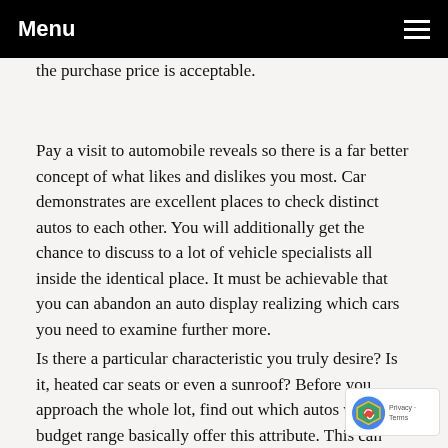Menu
the purchase price is acceptable.
Pay a visit to automobile reveals so there is a far better concept of what likes and dislikes you most. Car demonstrates are excellent places to check distinct autos to each other. You will additionally get the chance to discuss to a lot of vehicle specialists all inside the identical place. It must be achievable that you can abandon an auto display realizing which cars you need to examine further more.
Is there a particular characteristic you truly desire? Is it, heated car seats or even a sunroof? Before you approach the whole lot, find out which autos with budget range basically offer this attribute. This can